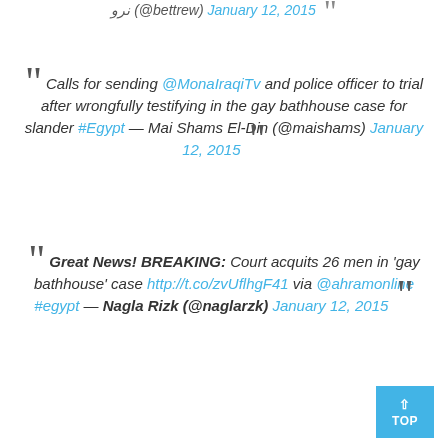نرو (@bettrew) January 12, 2015
Calls for sending @MonaIraqiTv and police officer to trial after wrongfully testifying in the gay bathhouse case for slander #Egypt — Mai Shams El-Din (@maishams) January 12, 2015
Great News! BREAKING: Court acquits 26 men in 'gay bathhouse' case http://t.co/zvUflhgF41 via @ahramonline #egypt — Nagla Rizk (@naglarzk) January 12, 2015